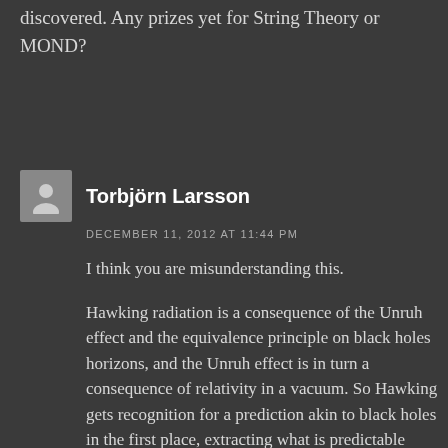discovered. Any prizes yet for String Theory or MOND?
Torbjörn Larsson
DECEMBER 11, 2012 AT 11:44 PM
I think you are misunderstanding this.
Hawking radiation is a consequence of the Unruh effect and the equivalence principle on black holes horizons, and the Unruh effect is in turn a consequence of relativity in a vacuum. So Hawking gets recognition for a prediction akin to black holes in the first place, extracting what is predictable from known physics in a semiclassical approximation.